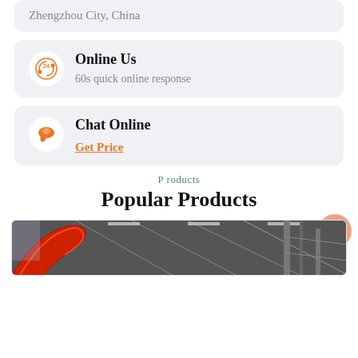Zhengzhou City, China
Online Us
60s quick online response
Chat Online
Get Price
P roducts
Popular Products
[Figure (photo): Industrial facility interior with red curved pipe/equipment and steel structure, black and white with red accent]